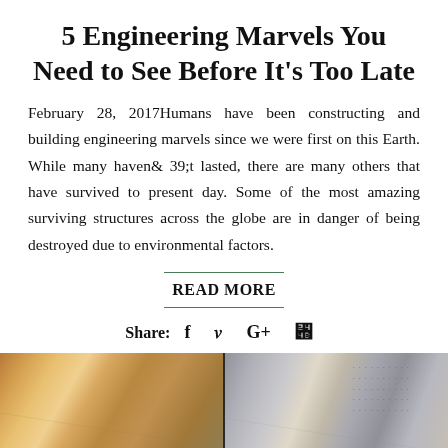5 Engineering Marvels You Need to See Before It's Too Late
February 28, 2017Humans have been constructing and building engineering marvels since we were first on this Earth. While many haven& 39;t lasted, there are many others that have survived to present day. Some of the most amazing surviving structures across the globe are in danger of being destroyed due to environmental factors.
READ MORE
Share: f ✓ G+ ⊕
[Figure (photo): Two side-by-side photos of airplane cabin interior showing overhead panels and lighting]